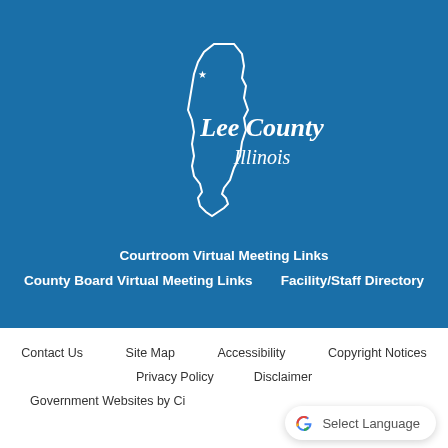[Figure (logo): Lee County Illinois logo — white outline of Illinois state shape with a star, text 'Lee County Illinois' in white script on blue background]
Courtroom Virtual Meeting Links
County Board Virtual Meeting Links     Facility/Staff Directory
Contact Us     Site Map     Accessibility     Copyright Notices
Privacy Policy     Disclaimer
Government Websites by Ci...
[Figure (logo): Google G logo with 'Select Language' text in a rounded white pill button]